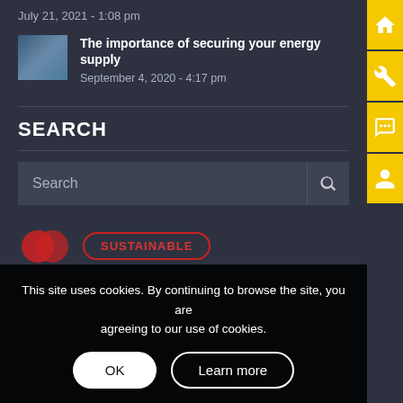July 21, 2021 - 1:08 pm
The importance of securing your energy supply
September 4, 2020 - 4:17 pm
SEARCH
[Figure (screenshot): Search input box with placeholder text 'Search' and a magnifying glass search button]
[Figure (logo): Red circular logo with SUSTAINABLE text button outlined in red]
This site uses cookies. By continuing to browse the site, you are agreeing to our use of cookies.
OK
Learn more